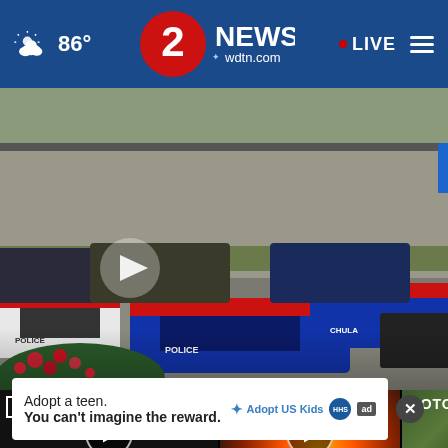86° | 2 NEWS WDTN.com | LIVE
[Figure (screenshot): Police cars scene with multiple blue and white Dayton Police vehicles in a parking lot, red flowers in foreground, play button overlay]
[Figure (screenshot): Thumbnail: Honor Walk for Officer Burt - dark thumbnail with play button]
[Figure (screenshot): Thumbnail: Crews battle vacant house fire - fire/flames visible with play button]
[Figure (screenshot): Thumbnail: CareFor crash - green/outdoor scene, MOTO text visible]
Honor Walk for Officer Burt
Crews battle vacan...
CareFor crash
Adopt a teen. You can't imagine the reward.